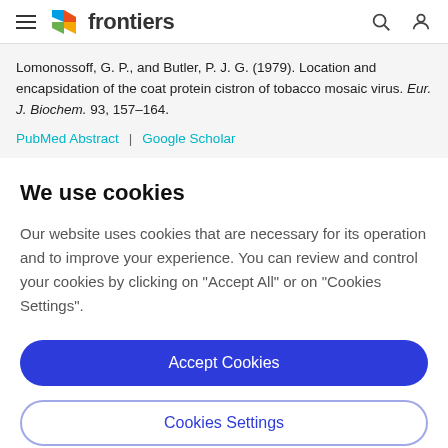frontiers
Lomonossoff, G. P., and Butler, P. J. G. (1979). Location and encapsidation of the coat protein cistron of tobacco mosaic virus. Eur. J. Biochem. 93, 157–164.
PubMed Abstract | Google Scholar
We use cookies
Our website uses cookies that are necessary for its operation and to improve your experience. You can review and control your cookies by clicking on "Accept All" or on "Cookies Settings".
Accept Cookies
Cookies Settings